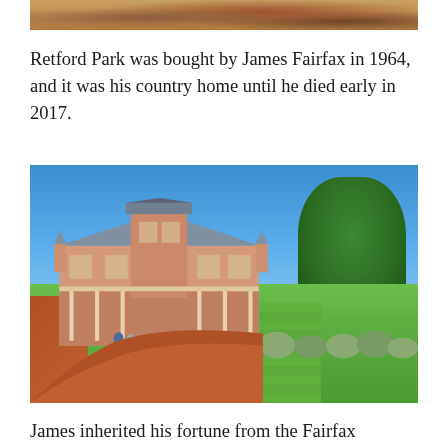[Figure (photo): Partial top portion of a photograph, showing warm-toned foliage or earthen colors]
Retford Park was bought by James Fairfax in 1964, and it was his country home until he died early in 2017.
[Figure (photo): Photograph of Retford Park, a Victorian-era pink sandstone mansion with a tower, wrap-around verandas, and manicured gardens including round topiary shrubs, striped lawn, red gravel driveway, and large trees under a deep blue sky.]
James inherited his fortune from the Fairfax Publishing company founded by his forebears, and is a well known